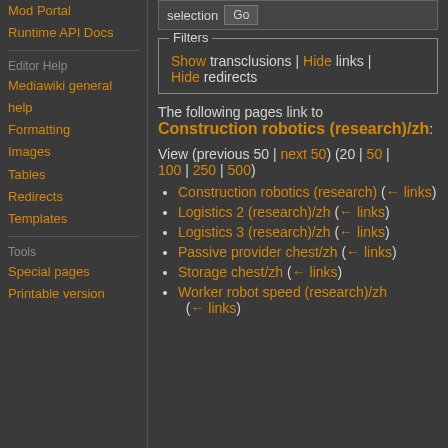Mod Portal
Runtime API Docs
Editor Help
Mediawiki general help
Formatting
Images
Tables
Redirects
Templates
Tools
Special pages
Printable version
selection Go
Filters
Show transclusions | Hide links | Hide redirects
The following pages link to Construction robotics (research)/zh:
View (previous 50 | next 50) (20 | 50 | 100 | 250 | 500)
Construction robotics (research)  (← links)
Logistics 2 (research)/zh  (← links)
Logistics 3 (research)/zh  (← links)
Passive provider chest/zh  (← links)
Storage chest/zh  (← links)
Worker robot speed (research)/zh  (← links)